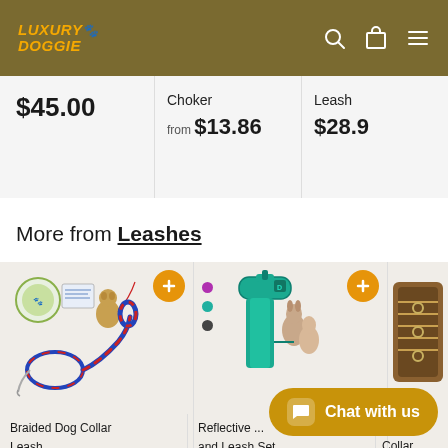Luxury Doggie
$45.00
Choker from $13.86
Leash $28.9...
More from Leashes
[Figure (photo): Braided dog collar and leash set with chain]
Braided Dog Collar Leash
[Figure (photo): Teal reflective dog collar and leash set]
Reflective ... and Leash Set
[Figure (photo): Braid collar]
...aid Collar
Chat with us